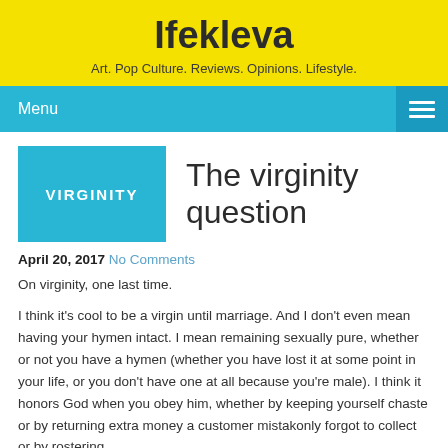Ifekleva
Art. Pop Culture. Reviews. Opinions. Lifestyle.
Menu
[Figure (illustration): Blue rectangle with white text reading VIRGINITY]
The virginity question
April 20, 2017  No Comments
On virginity, one last time.
I think it's cool to be a virgin until marriage. And I don't even mean having your hymen intact. I mean remaining sexually pure, whether or not you have a hymen (whether you have lost it at some point in your life, or you don't have one at all because you're male). I think it honors God when you obey him, whether by keeping yourself chaste or by returning extra money a customer mistakonly forgot to collect or by rostering